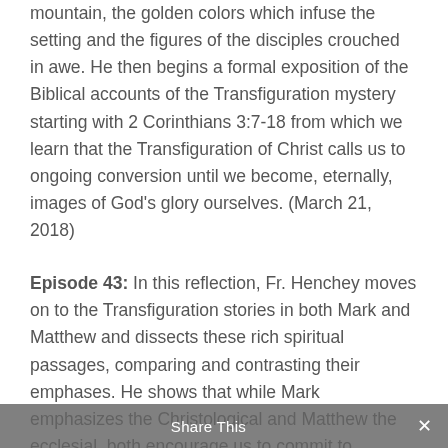mountain, the golden colors which infuse the setting and the figures of the disciples crouched in awe. He then begins a formal exposition of the Biblical accounts of the Transfiguration mystery starting with 2 Corinthians 3:7-18 from which we learn that the Transfiguration of Christ calls us to ongoing conversion until we become, eternally, images of God's glory ourselves. (March 21, 2018)
Episode 43: In this reflection, Fr. Henchey moves on to the Transfiguration stories in both Mark and Matthew and dissects these rich spiritual passages, comparing and contrasting their emphases. He shows that while Mark emphasizes the Christological and Matthew the ecclesial, both encourage us to commit to ongoing conversion by removing the veils that obscure our understanding of the vision Christ wants us to follow. (March 28, 2018)
Share This